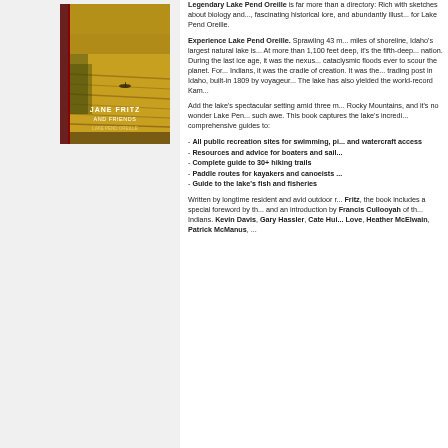[Figure (illustration): Book cover for 'Jane Fritz and Friends' depicting a lake scene with golden-yellow water and a small boat, with a dark vertical stripe on the left side.]
Legendary Lake Pend Oreille is far more than a directory: Rich with sketches about biology and..., fascinating historical lore, and abundantly illust... for Lake Pend Oreille.
Experience Lake Pend Oreille. Sprawling 43 m... miles of shoreline, Idaho's largest natural lake is... At more than 1,100 feet deep, it's the fifth-deep... nation. During the last ice age, it was the nexus... cataclysmic floods ever to scour the planet. For... Indians, it was the cradle of creation. It was the... trading post in Idaho, built-in 1809 by voyageur... The lake has also yielded the world-record Kam...
Add the lake's spectacular setting amid three m... Rocky Mountains, and it's no wonder Lake Pen... such awe. This book captures the lake's incredi... comprehensive guides to:
- All public recreation sites for swimming, pi... and watercraft access
- Resources and advice for boaters and sail...
- Complete guide to 30+ hiking trails
- Paddle routes for kayakers and canoeists ...
- Guide to the lake's fish and fisheries
Written by longtime resident and avid outdoor r... Fritz, the book includes a special foreword by th... and an introduction by Francis Cullooyah of th... Indians. Kevin Davis, Gary Hassler, Cate Hui... Love, Heather McElwain, Patrick McManus, ...